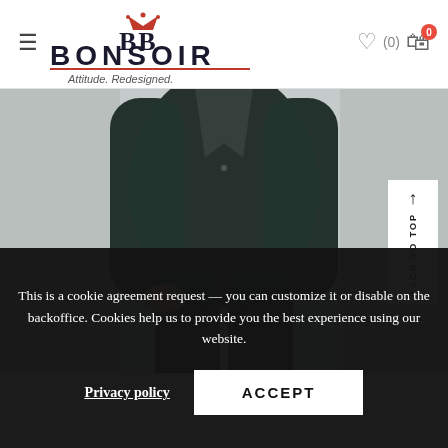[Figure (logo): Bonsoir logo with crown, double-B monogram, BONSOIR text, and tagline 'Attitude. Redesigned.']
[Figure (photo): Man wearing a dark textured blazer jacket and dark trousers, hands in pocket, grey studio background]
[Figure (other): Back to Top button with upward arrow]
This is a cookie agreement request — you can customize it or disable on the backoffice. Cookies help us to provide you the best experience using our website.
Privacy policy
ACCEPT